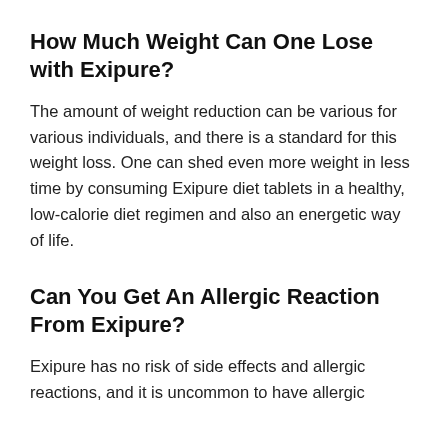How Much Weight Can One Lose with Exipure?
The amount of weight reduction can be various for various individuals, and there is a standard for this weight loss. One can shed even more weight in less time by consuming Exipure diet tablets in a healthy, low-calorie diet regimen and also an energetic way of life.
Can You Get An Allergic Reaction From Exipure?
Exipure has no risk of side effects and allergic reactions, and it is uncommon to have allergic